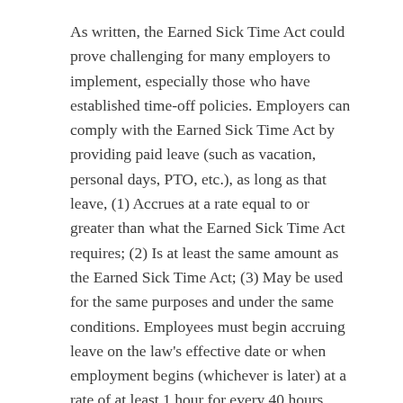As written, the Earned Sick Time Act could prove challenging for many employers to implement, especially those who have established time-off policies. Employers can comply with the Earned Sick Time Act by providing paid leave (such as vacation, personal days, PTO, etc.), as long as that leave, (1) Accrues at a rate equal to or greater than what the Earned Sick Time Act requires; (2) Is at least the same amount as the Earned Sick Time Act; (3) May be used for the same purposes and under the same conditions. Employees must begin accruing leave on the law's effective date or when employment begins (whichever is later) at a rate of at least 1 hour for every 40 hours worked.
What does this mean for employers?
It is still somewhat unclear what the Earned Sick Time Act will look like come April 1, 2019. Rest assured that BCN Services will continue to monitor and report on further